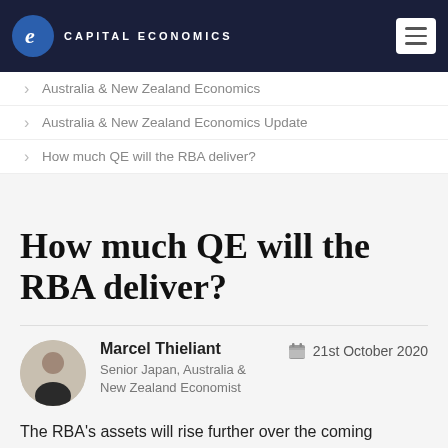CAPITAL ECONOMICS
Australia & New Zealand Economics
Australia & New Zealand Economics Update
How much QE will the RBA deliver?
How much QE will the RBA deliver?
Marcel Thieliant | Senior Japan, Australia & New Zealand Economist | 21st October 2020
The RBA's assets will rise further over the coming